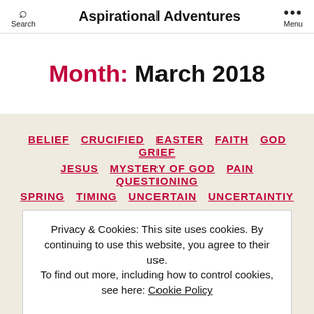Search  Aspirational Adventures  Menu
Month: March 2018
BELIEF  CRUCIFIED  EASTER  FAITH  GOD  GRIEF  JESUS  MYSTERY OF GOD  PAIN  QUESTIONING  SPRING  TIMING  UNCERTAIN  UNCERTAINTIY
Privacy & Cookies: This site uses cookies. By continuing to use this website, you agree to their use.
To find out more, including how to control cookies, see here: Cookie Policy
CLOSE AND ACCEPT